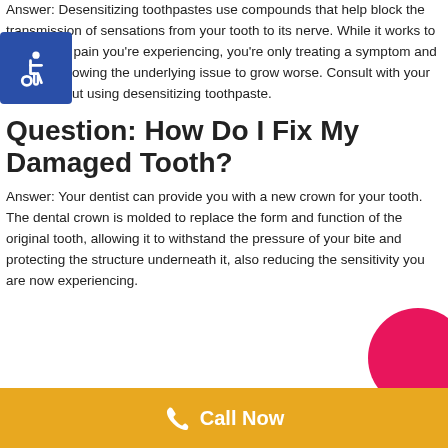Answer: Desensitizing toothpastes use compounds that help block the transmission of sensations from your tooth to its nerve. While it works to reduce the pain you're experiencing, you're only treating a symptom and possibly allowing the underlying issue to grow worse. Consult with your dentist about using desensitizing toothpaste.
Question: How Do I Fix My Damaged Tooth?
Answer: Your dentist can provide you with a new crown for your tooth. The dental crown is molded to replace the form and function of the original tooth, allowing it to withstand the pressure of your bite and protecting the structure underneath it, also reducing the sensitivity you are now experiencing.
Call Now